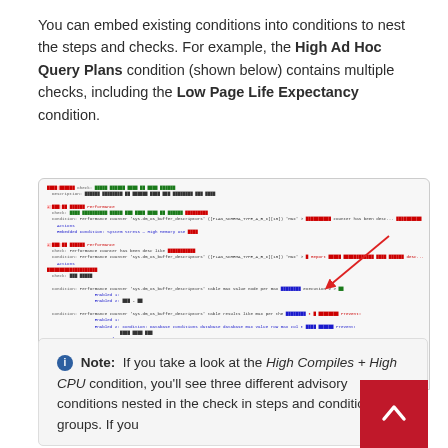You can embed existing conditions into conditions to nest the steps and checks. For example, the High Ad Hoc Query Plans condition (shown below) contains multiple checks, including the Low Page Life Expectancy condition.
[Figure (screenshot): Screenshot of the High Ad Hoc Query Plans condition interface showing nested conditions with colored labels and a red arrow pointing to a highlighted row.]
High Ad Hoc Query Plans condition
Note: If you take a look at the High Compiles + High CPU condition, you'll see three different advisory conditions nested in the check in steps and condition groups. If you